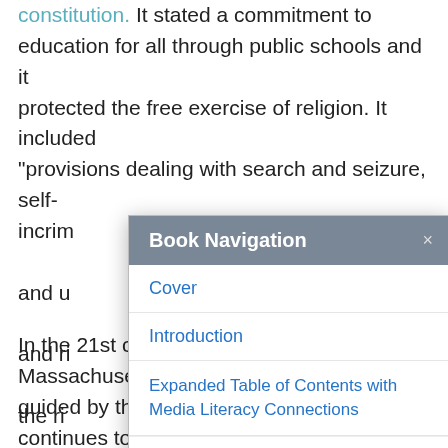constitution. It stated a commitment to education for all through public schools and it protected the free exercise of religion. It included "provisions dealing with search and seizure, self-incrim[ination, freedom from] cruel and u[nusual punishment, freedom of the p]ress and ri[ght to trial by jury. People] had the rig[ht to an indepen]dent judici[al review. There was a provision for separation of powers] betwe[en the branches of government] (Teac[hing American History / Ashbrook] Cente[r for Excellence in Civic Education]).
[Figure (screenshot): Book Navigation modal dialog overlaying the text. Header in dark gray with title 'Book Navigation' and an × close button. Body contains links: 'Cover', 'Introduction', 'Expanded Table of Contents with Media Literacy Connections', and a partially visible link at the bottom.]
In the 21st century, the state of Massachusetts, guided by the Massachusetts Constitution, continues to expand liberties and protections for individuals and groups. To explore this standard